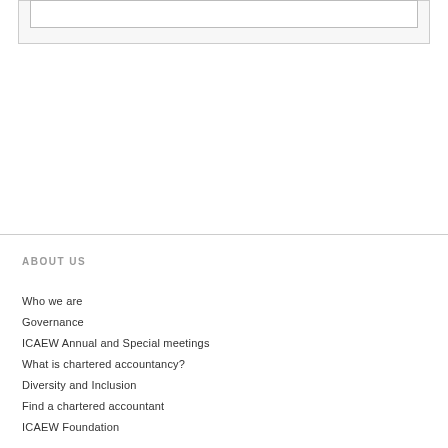ABOUT US
Who we are
Governance
ICAEW Annual and Special meetings
What is chartered accountancy?
Diversity and Inclusion
Find a chartered accountant
ICAEW Foundation